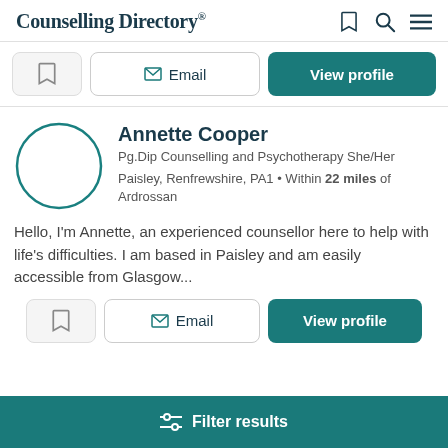Counselling Directory
Email | View profile (top action bar)
Annette Cooper
Pg.Dip Counselling and Psychotherapy She/Her
Paisley, Renfrewshire, PA1 • Within 22 miles of Ardrossan
Hello, I'm Annette, an experienced counsellor here to help with life's difficulties. I am based in Paisley and am easily accessible from Glasgow...
Email | View profile (bottom action bar)
Filter results